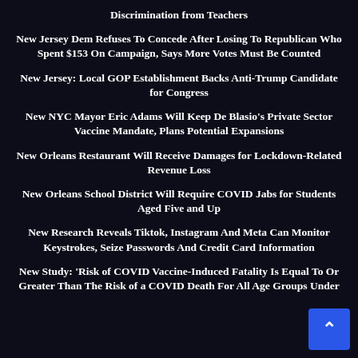Discrimination from Teachers
New Jersey Dem Refuses To Concede After Losing To Republican Who Spent $153 On Campaign, Says More Votes Must Be Counted
New Jersey: Local GOP Establishment Backs Anti-Trump Candidate for Congress
New NYC Mayor Eric Adams Will Keep De Blasio's Private Sector Vaccine Mandate, Plans Potential Expansions
New Orleans Restaurant Will Receive Damages for Lockdown-Related Revenue Loss
New Orleans School District Will Require COVID Jabs for Students Aged Five and Up
New Research Reveals Tiktok, Instagram And Meta Can Monitor Keystrokes, Seize Passwords And Credit Card Information
New Study: 'Risk of COVID Vaccine-Induced Fatality Is Equal To Or Greater Than The Risk of a COVID Death For All Age Groups Under